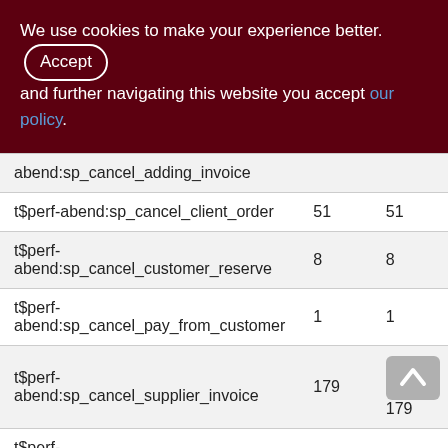We use cookies to make your experience better. By accepting and further navigating this website you accept our policy.
|  |  |  |
| --- | --- | --- |
| abend:sp_cancel_adding_invoice |  |  |
| t$perf-abend:sp_cancel_client_order | 51 | 51 |
| t$perf-abend:sp_cancel_customer_reserve | 8 | 8 |
| t$perf-abend:sp_cancel_pay_from_customer | 1 | 1 |
| t$perf-abend:sp_cancel_supplier_invoice | 179 | 179 |
| t$perf-abend:sp_cancel_supplier_order | 11606 | 11606 |